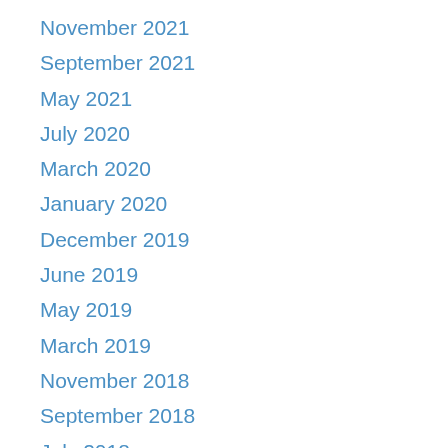November 2021
September 2021
May 2021
July 2020
March 2020
January 2020
December 2019
June 2019
May 2019
March 2019
November 2018
September 2018
July 2018
September 2017
June 2017